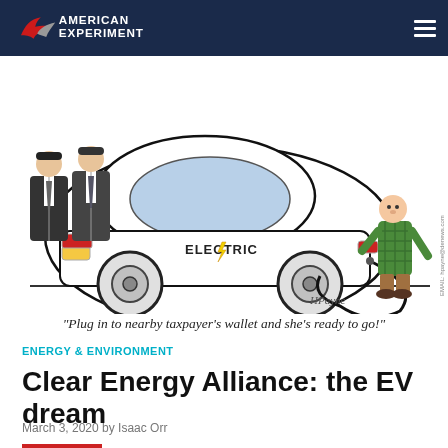American Experiment
[Figure (illustration): Editorial cartoon showing an electric car with 'ELECTRIC' written on its side and a lightning bolt logo. Two men in business suits stand behind the car, while a man in a green plaid shirt stands to the right holding a power cord plugged into the car. The cord loops around dramatically. Artist signature 'HPayne' visible, with email hpayne@denews.com shown vertically on the right side.]
“Plug in to nearby taxpayer’s wallet and she’s ready to go!”
ENERGY & ENVIRONMENT
Clear Energy Alliance: the EV dream
March 3, 2020 by Isaac Orr